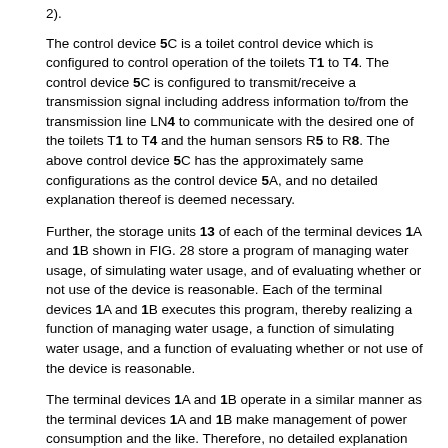2).
The control device 5C is a toilet control device which is configured to control operation of the toilets T1 to T4. The control device 5C is configured to transmit/receive a transmission signal including address information to/from the transmission line LN4 to communicate with the desired one of the toilets T1 to T4 and the human sensors R5 to R8. The above control device 5C has the approximately same configurations as the control device 5A, and no detailed explanation thereof is deemed necessary.
Further, the storage units 13 of each of the terminal devices 1A and 1B shown in FIG. 28 store a program of managing water usage, of simulating water usage, and of evaluating whether or not use of the device is reasonable. Each of the terminal devices 1A and 1B executes this program, thereby realizing a function of managing water usage, a function of simulating water usage, and a function of evaluating whether or not use of the device is reasonable.
The terminal devices 1A and 1B operate in a similar manner as the terminal devices 1A and 1B make management of power consumption and the like. Therefore, no detailed explanation thereof is deemed necessary. Besides, the aforementioned human sensors R5 to R8 are employed for judgment of the above exception rule.
As described in the above, the energy management system in accordance